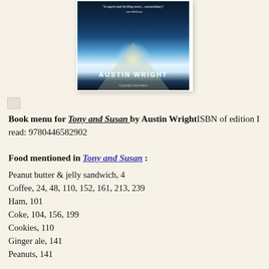[Figure (illustration): Book cover of Tony and Susan by Austin Wright showing a dark road at night with headlights and open book imagery, with quote from Ian McEwan at top and author name at bottom]
Book menu for Tony and Susan by Austin WrightISBN of edition I read: 9780446582902
Food mentioned in Tony and Susan :
Peanut butter & jelly sandwich, 4
Coffee, 24, 48, 110, 152, 161, 213, 239
Ham, 101
Coke, 104, 156, 199
Cookies, 110
Ginger ale, 141
Peanuts, 141
Spaghetti, 153, 238
Scrambled eggs, 182